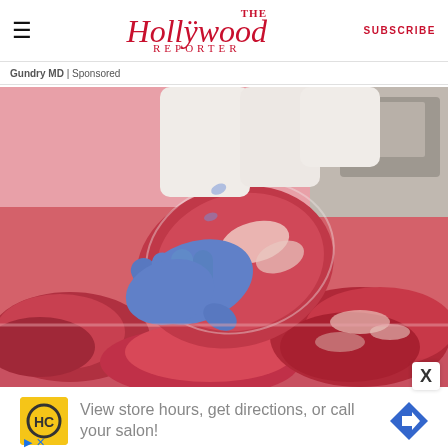≡  The Hollywood Reporter  SUBSCRIBE
Gundry MD | Sponsored
[Figure (photo): Butcher in blue gloves holding a large cut of raw red meat over a display case full of various cuts of beef]
X
View store hours, get directions, or call your salon!